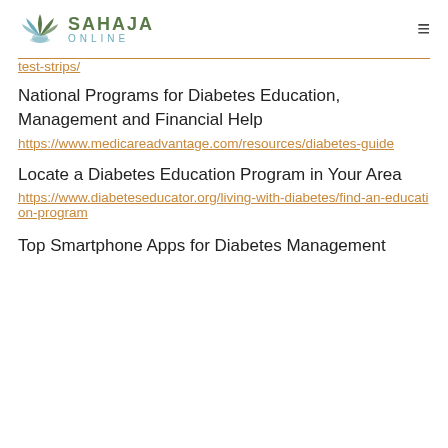SAHAJA ONLINE
test-strips/ (partial URL continued from previous page)
National Programs for Diabetes Education, Management and Financial Help
https://www.medicareadvantage.com/resources/diabetes-guide
Locate a Diabetes Education Program in Your Area
https://www.diabeteseducator.org/living-with-diabetes/find-an-education-program
Top Smartphone Apps for Diabetes Management